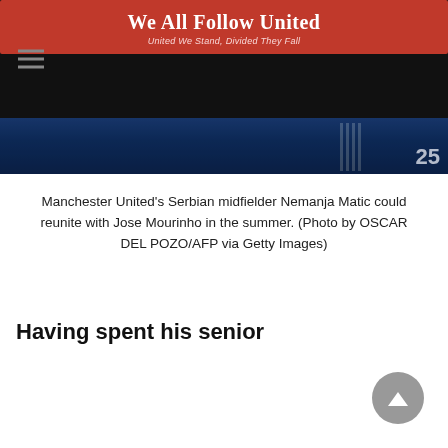We All Follow United — United We Stand, Divided They Fall
[Figure (photo): Cropped sports photo showing football players in dark jerseys with jersey number 25 visible on the right side]
Manchester United's Serbian midfielder Nemanja Matic could reunite with Jose Mourinho in the summer. (Photo by OSCAR DEL POZO/AFP via Getty Images)
Having spent his senior